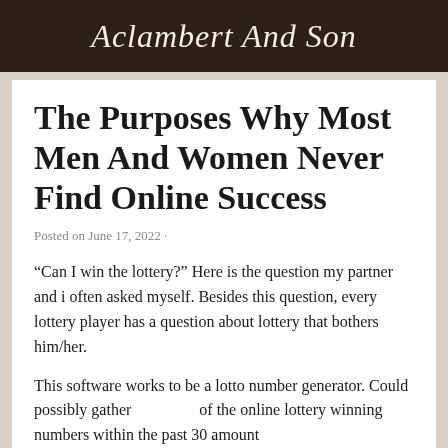Aclambert And Son
The Purposes Why Most Men And Women Never Find Online Success
Posted on June 17, 2022 ·
“Can I win the lottery?” Here is the question my partner and i often asked myself. Besides this question, every lottery player has a question about lottery that bothers him/her.
This software works to be a lotto number generator. Could possibly gather                of the online lottery winning numbers within the past 30 amount